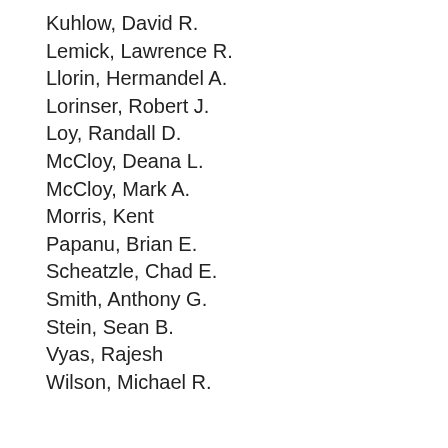Kuhlow, David R.
Lemick, Lawrence R.
Llorin, Hermandel A.
Lorinser, Robert J.
Loy, Randall D.
McCloy, Deana L.
McCloy, Mark A.
Morris, Kent
Papanu, Brian E.
Scheatzle, Chad E.
Smith, Anthony G.
Stein, Sean B.
Vyas, Rajesh
Wilson, Michael R.